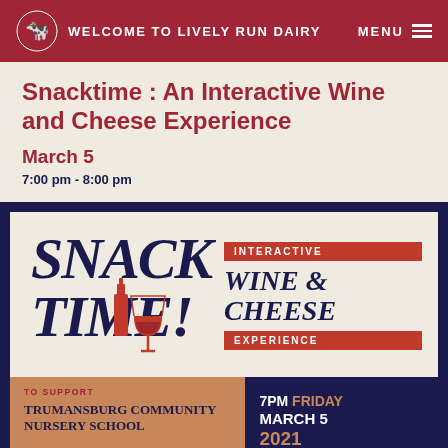WELCOME TO LIVELY RUN DAIRY   MENU
Snacktime : An Interactive Wine and Cheese Experience
March 5
7:00 pm - 8:00 pm
[Figure (illustration): Snack Time event poster: large dark navy bold italic text reading SNACK TIME! with a wine bottle and glass illustration, alongside text reading INTERACTIVE WINE & CHEESE EXPERIENCE on red banner labels. Bottom section shows orange panel with TO SUPPORT TRUMANSBURG COMMUNITY NURSERY SCHOOL and dark navy panel with 7PM FRIDAY MARCH 5 2021.]